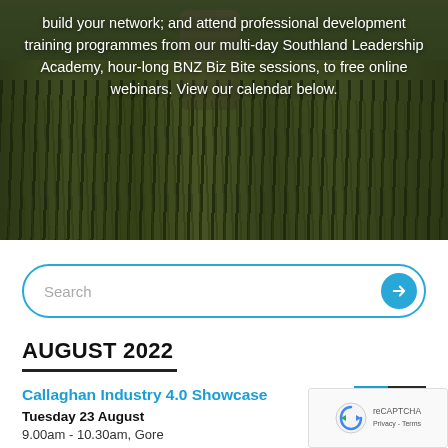build your network; and attend professional development training programmes from our multi-day Southland Leadership Academy, hour-long BNZ Biz Bite sessions, to free online webinars. View our calendar below.
[Figure (photo): Background photo of a person in a grassy outdoor landscape, used as hero banner with overlaid white text]
Search
AUGUST 2022
Callaghan Industry 4.0 Showcase
Tuesday 23 August
9.00am - 10.30am, Gore